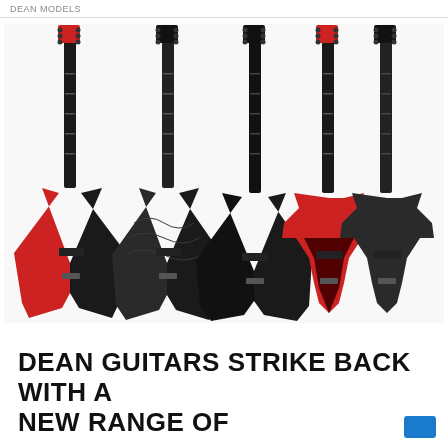DEAN MODELS
[Figure (photo): Six Dean electric guitars displayed upright in a row — three V-shaped guitars on the left (one red burst, one dark with flame top, one solid black) and three angular X/Z-shaped guitars on the right (one red burst, one dark satin, one solid black) — all with black hardware and long necks against a white background.]
DEAN GUITARS STRIKE BACK WITH A NEW RANGE OF RELEASE NEW RANGE O